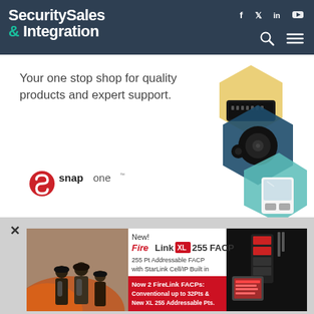Security Sales & Integration
[Figure (screenshot): Snap One advertisement: 'Your one stop shop for quality products and expert support.' with Snap One logo and hexagonal product images showing cameras, speakers, and smart home devices]
[Figure (screenshot): Speco Technologies advertisement: NRN Series NVRs are UL 2900-2-3 Level 1 certified]
[Figure (advertisement): FireLink XL 255 FACP advertisement: New! FireLink XL 255 FACP, 255 Pt Addressable FACP with StarLink Cell/IP Built in, Now 2 FireLink FACPs: Conventional up to 32Pts & New XL 255 Addressable Pts.]